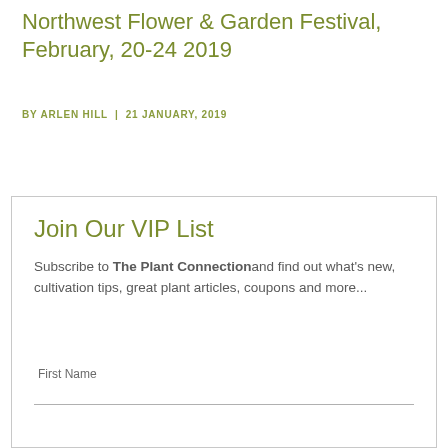Northwest Flower & Garden Festival, February, 20-24 2019
BY ARLEN HILL  |  21 JANUARY, 2019
Join Our VIP List
Subscribe to The Plant Connection and find out what's new, cultivation tips, great plant articles, coupons and more...
First Name